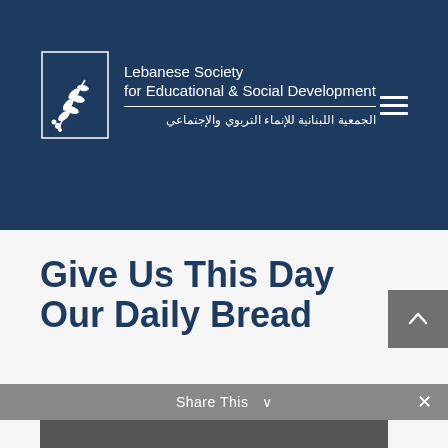[Figure (logo): Lebanese Society for Educational & Social Development logo with olive branch motif and bilingual text in English and Arabic]
Give Us This Day Our Daily Bread
by Emily Hoppin | Sep 4, 2019 | Devotional | 0 comments
[Figure (photo): Partial photo strip at bottom of page, dark/brown tones]